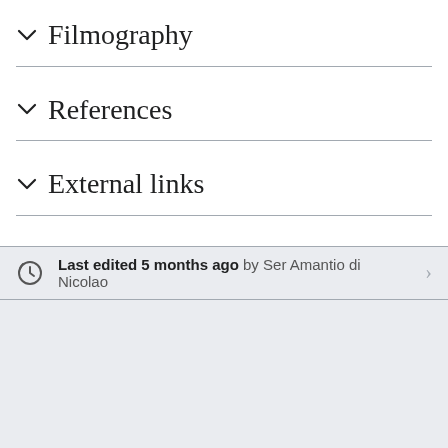Filmography
References
External links
Last edited 5 months ago by Ser Amantio di Nicolao